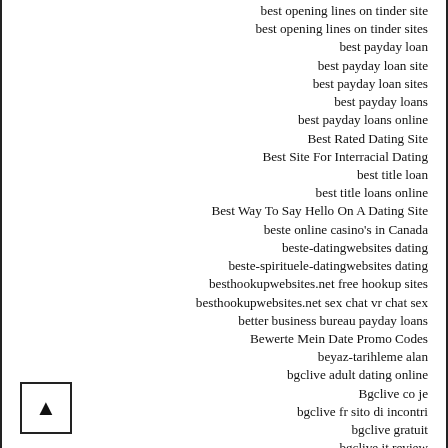best opening lines on tinder site
best opening lines on tinder sites
best payday loan
best payday loan site
best payday loan sites
best payday loans
best payday loans online
Best Rated Dating Site
Best Site For Interracial Dating
best title loan
best title loans online
Best Way To Say Hello On A Dating Site
beste online casino's in Canada
beste-datingwebsites dating
beste-spirituele-datingwebsites dating
besthookupwebsites.net free hookup sites
besthookupwebsites.net sex chat vr chat sex
better business bureau payday loans
Bewerte Mein Date Promo Codes
beyaz-tarihleme alan
bgclive adult dating online
Bgclive co je
bgclive fr sito di incontri
bgclive gratuit
bgclive it review
bgclive mobile site
Bgclive recenzja